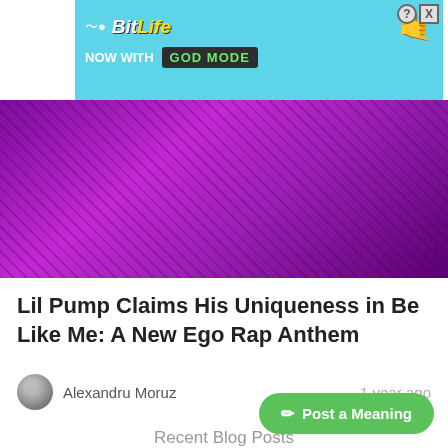[Figure (illustration): BitLife advertisement banner with cyan background, showing BitLife logo with yellow italic text, 'NOW WITH GOD MODE' text, a pointing hand emoji, and close/help icons]
[Figure (photo): Hero image with purple/magenta tones showing a stylized close-up face with dramatic lighting]
Lil Pump Claims His Uniqueness in Be Like Me: A New Ego Rap Anthem
Alexandru Moruz
1 year ago
Recent Blog Posts
[Figure (photo): Bottom blog post thumbnail showing graffiti text 'PUNK' on a surface with a person below]